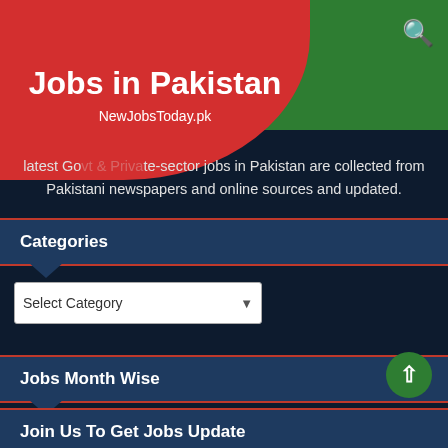Jobs in Pakistan – NewJobsToday.pk
latest Go…te-sector jobs in Pakistan are collected from Pakistani newspapers and online sources and updated.
Jobs Month Wise
Select Month
Categories
Select Category
Join Us To Get Jobs Update